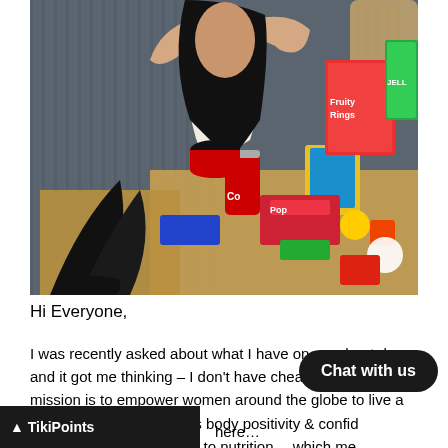[Figure (photo): A young woman with long dark hair, wearing a white top and black tights, sitting at a table covered with junk food, snacks, sodas, candy boxes including Fruity Rings cereal, Coca-Cola cans, and colorful packaged snacks.]
Hi Everyone,
I was recently asked about what I have on my cheat days and it got me thinking – I don't have cheat days. My mission is to empower women around the globe to live a [healthy] lifestyle and focus body positivity & confid[ence] and a balanced approach to nutrition… which me[ans no cheat da]ys. [Click] here…
Chat with us
▲ TikiPoints   here…